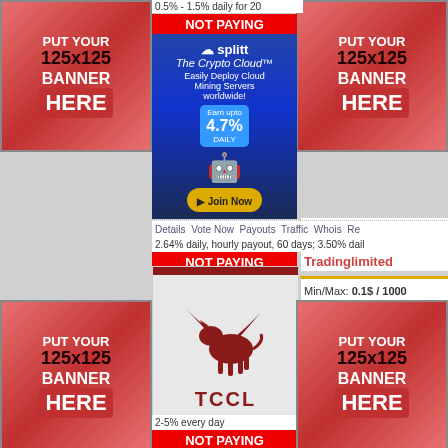[Figure (infographic): PUT YOUR 125x125 BANNER HERE placeholder - top left, red gradient background]
[Figure (infographic): PUT YOUR 125x125 BANNER HERE placeholder - top right, red gradient background]
0.5% - 1.5% daily for 20 days
[Figure (infographic): NOT PAYING red banner label]
[Figure (infographic): Splitt - The Crypto Cloud advertisement banner with robot miner character, Earn up to 4.7% daily, Join Now button]
Withdrawal: Instant
Ref. Back: 4%
Details  Vote Now  Payouts  Traffic  Whois  Re...
2.64% daily, hourly payout, 60 days; 3.50% daily...
[Figure (infographic): NOT PAYING red banner label]
Tradinglimited
[Figure (logo): TCCL logo with winged bull/pegasus in dark red on grey background]
Min/Max: 0.1$ / 1000
Referral: 7%-4%
Withdrawal: Instant
Ref. Back: 7%
Details  Vote Now  Pay...
2-5% every day
[Figure (infographic): NOT PAYING red banner label]
[Figure (infographic): PUT YOUR 125x125 BANNER HERE placeholder - bottom left, red gradient background]
[Figure (infographic): PUT YOUR 125x125 BANNER HERE placeholder - bottom right, red gradient background]